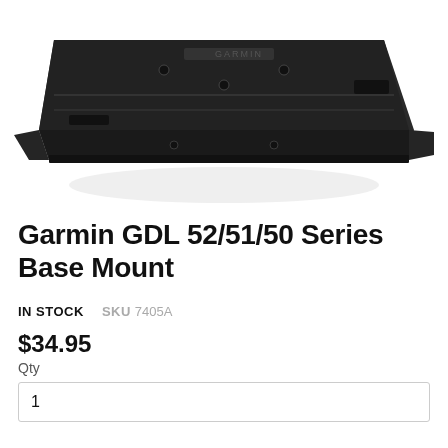[Figure (photo): Product photo of Garmin GDL 52/51/50 Series Base Mount, showing the black plastic mounting bracket from an angled top-down perspective against a white background]
Garmin GDL 52/51/50 Series Base Mount
IN STOCK   SKU 7405A
$34.95
Qty
1